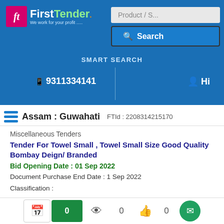[Figure (screenshot): FirstTender website header with logo, search bar, phone number and navigation]
Assam : Guwahati  FTId : 2208314215170
Miscellaneous Tenders
Tender For Towel Small , Towel Small Size Good Quality Bombay Deign/ Branded
Bid Opening Date : 01 Sep 2022
Document Purchase End Date : 1 Sep 2022
Classification :
Competition : Domestic Competitive Bidding
Posted On : 31 Aug 2022
0  0  0